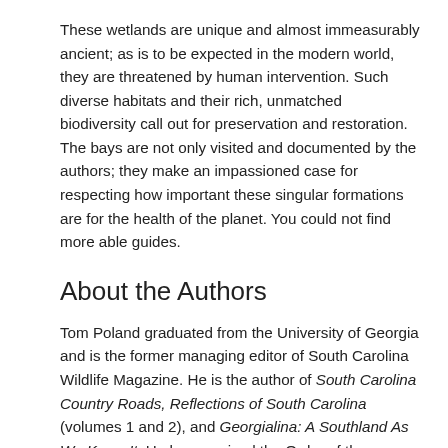These wetlands are unique and almost immeasurably ancient; as is to be expected in the modern world, they are threatened by human intervention. Such diverse habitats and their rich, unmatched biodiversity call out for preservation and restoration. The bays are not only visited and documented by the authors; they make an impassioned case for respecting how important these singular formations are for the health of the planet. You could not find more able guides.
About the Authors
Tom Poland graduated from the University of Georgia and is the former managing editor of South Carolina Wildlife Magazine. He is the author of South Carolina Country Roads, Reflections of South Carolina (volumes 1 and 2), and Georgialina: A Southland As We Knew It. He has received the Order of the Palmetto, South Carolina's highest civilian honor.